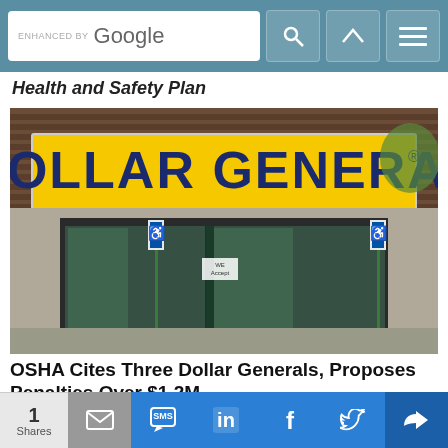Health and Safety Plan
[Figure (photo): Exterior photo of a Dollar General store with yellow sign showing 'DOLLAR GENERAL' in dark blue letters, parking lot and entrance visible with handicap parking signs.]
OSHA Cites Three Dollar Generals, Proposes Penalties Over $1.2M
[Figure (other): Podcast banner with yellow background showing 'PODCAST' text and episode number, with dot grid pattern on right side.]
[Figure (other): Social share bar at bottom with share count of 1, email, SMS, LinkedIn, Facebook, Twitter, and other sharing buttons.]